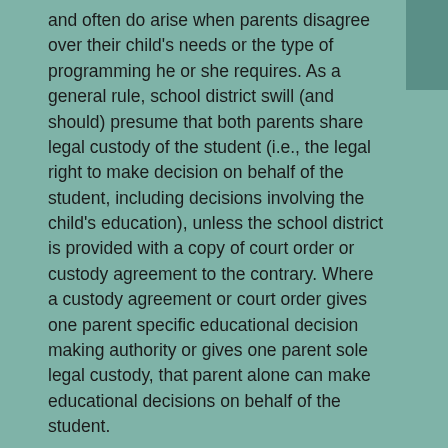and often do arise when parents disagree over their child's needs or the type of programming he or she requires. As a general rule, school district swill (and should) presume that both parents share legal custody of the student (i.e., the legal right to make decision on behalf of the student, including decisions involving the child's education), unless the school district is provided with a copy of court order or custody agreement to the contrary. Where a custody agreement or court order gives one parent specific educational decision making authority or gives one parent sole legal custody, that parent alone can make educational decisions on behalf of the student.
In the context of special education, the parent with educational decision making authority is the only parent who can sign a Notice of Recommended Education Placement (NOREP) approving an Individualized Education Program (IEP), sign a Permission to Evaluate or Reevaluate form (PTE/PTRE), initiate due process proceedings and sign settlement agreements, or authorize any other action that